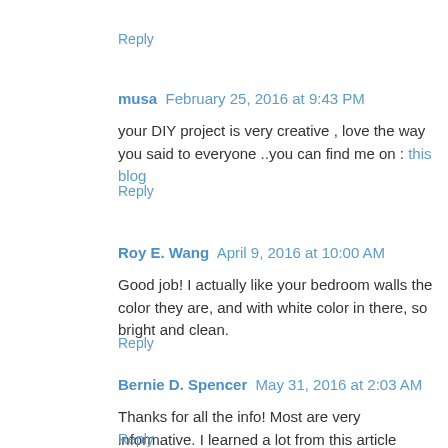Reply
musa  February 25, 2016 at 9:43 PM
your DIY project is very creative , love the way you said to everyone ..you can find me on : this blog
Reply
Roy E. Wang  April 9, 2016 at 10:00 AM
Good job! I actually like your bedroom walls the color they are, and with white color in there, so bright and clean.
Reply
Bernie D. Spencer  May 31, 2016 at 2:03 AM
Thanks for all the info! Most are very informative. I learned a lot from this article
Reply